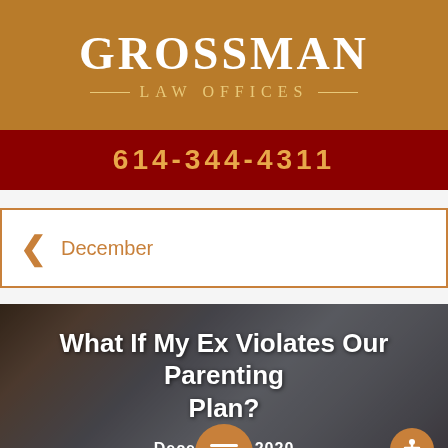GROSSMAN LAW OFFICES
614-344-4311
< December
[Figure (photo): Background photo of children/people in a group setting, used as article card header image]
What If My Ex Violates Our Parenting Plan?
December 2020